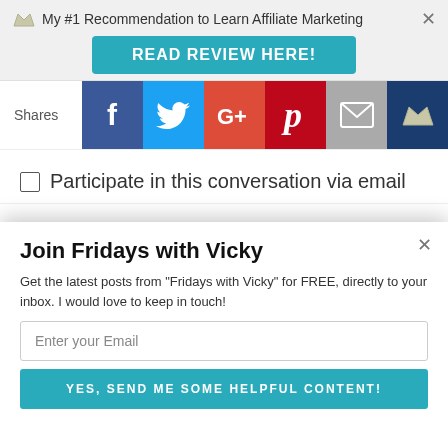My #1 Recommendation to Learn Affiliate Marketing
READ REVIEW HERE!
Shares
[Figure (infographic): Social share buttons: Facebook (blue), Twitter (light blue), Google+ (red/orange), Pinterest (dark red), Email (gray), Crown/Sumo (dark blue)]
Participate in this conversation via email
WELCOME
POWERED BY SUMO
Join Fridays with Vicky
Get the latest posts from "Fridays with Vicky" for FREE, directly to your inbox. I would love to keep in touch!
Enter your Email
YES, SEND ME SOME HELPFUL CONTENT!